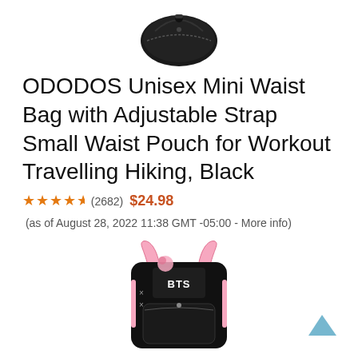[Figure (photo): Black waist bag / fanny pack product photo on white background, viewed from above at an angle]
ODODOS Unisex Mini Waist Bag with Adjustable Strap Small Waist Pouch for Workout Travelling Hiking, Black
★★★★½ (2682) $24.98 (as of August 28, 2022 11:38 GMT -05:00 - More info)
[Figure (photo): Black backpack with pink accents and BTS logo design, product photo on white background]